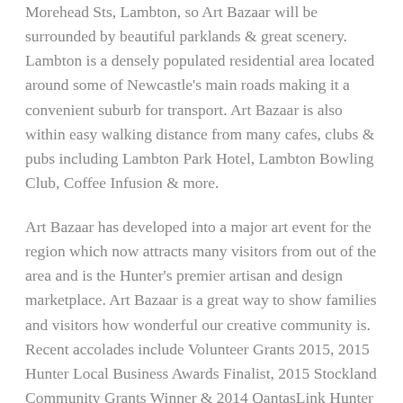Morehead Sts, Lambton, so Art Bazaar will be surrounded by beautiful parklands & great scenery. Lambton is a densely populated residential area located around some of Newcastle's main roads making it a convenient suburb for transport. Art Bazaar is also within easy walking distance from many cafes, clubs & pubs including Lambton Park Hotel, Lambton Bowling Club, Coffee Infusion & more.
Art Bazaar has developed into a major art event for the region which now attracts many visitors from out of the area and is the Hunter's premier artisan and design marketplace. Art Bazaar is a great way to show families and visitors how wonderful our creative community is. Recent accolades include Volunteer Grants 2015, 2015 Hunter Local Business Awards Finalist, 2015 Stockland Community Grants Winner & 2014 QantasLink Hunter & Central Coast Awards for Excellence in Tourism Finalist.
HAN is a non-profit membership of artisans from the Hunter